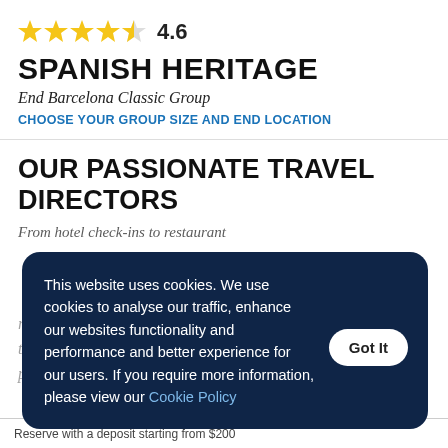[Figure (other): Star rating: 4 full gold stars and 1 half gold star, with numeric rating 4.6]
SPANISH HERITAGE
End Barcelona Classic Group
CHOOSE YOUR GROUP SIZE AND END LOCATION
OUR PASSIONATE TRAVEL DIRECTORS
From hotel check-ins to restaurant
This website uses cookies. We use cookies to analyse our traffic, enhance our websites functionality and performance and better experience for our users. If you require more information, please view our Cookie Policy
Reserve with a deposit starting from $200